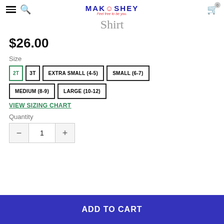MAKOSHEY – Feel free to be you.
Shirt
$26.00
Size
2T (selected)
3T
EXTRA SMALL (4-5)
SMALL (6-7)
MEDIUM (8-9)
LARGE (10-12)
VIEW SIZING CHART
Quantity
1
ADD TO CART